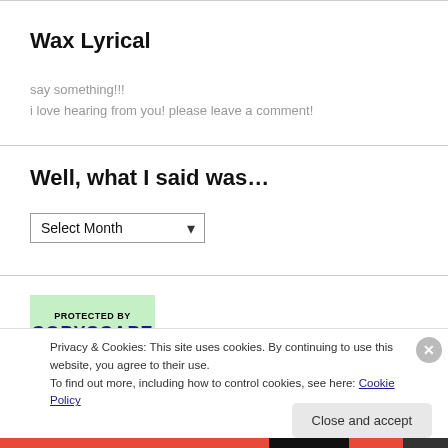Wax Lyrical
say something!!!
i love hearing from you! please leave a comment!
Well, what I said was…
Select Month
[Figure (screenshot): Copyscape Protected badge — green background with 'PROTECTED BY' in small bold black text and 'COPYSCAPE' in large bold dark blue text]
Privacy & Cookies: This site uses cookies. By continuing to use this website, you agree to their use.
To find out more, including how to control cookies, see here: Cookie Policy
Close and accept